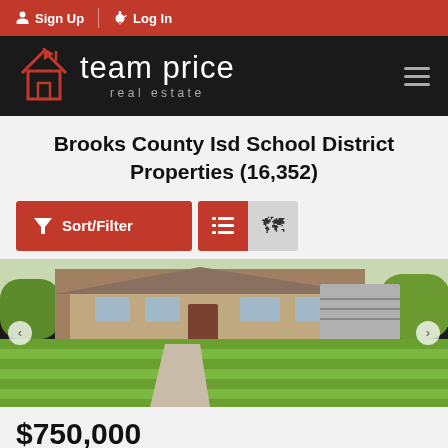Sign Up | Log In
[Figure (logo): Team Price Real Estate logo with house icon on dark background]
Brooks County Isd School District Properties (16,352)
Sort/Filter (button) | List view icon | Map view icon
[Figure (photo): Exterior photo of a brick house with green lawn and garage driveway]
$750,000
2200 Village View Loop